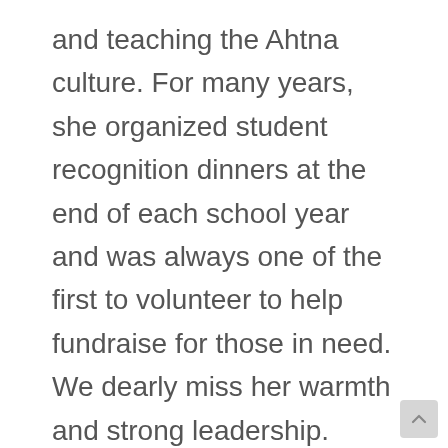and teaching the Ahtna culture. For many years, she organized student recognition dinners at the end of each school year and was always one of the first to volunteer to help fundraise for those in need. We dearly miss her warmth and strong leadership.
Marshall is a member of the Udzisyu (Caribou) Clan. He has four children and resides in his childhood home of Tazlina with his wife Katherine. Marshall is the grandson of the late Robert Marshall,